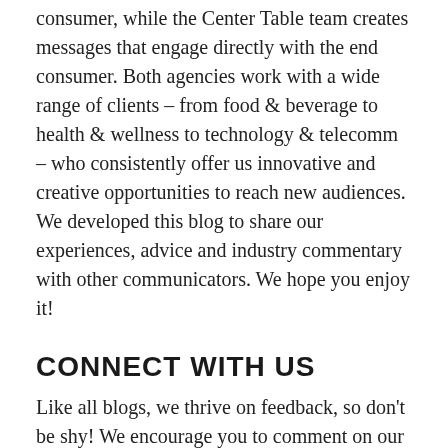consumer, while the Center Table team creates messages that engage directly with the end consumer. Both agencies work with a wide range of clients – from food & beverage to health & wellness to technology & telecomm – who consistently offer us innovative and creative opportunities to reach new audiences. We developed this blog to share our experiences, advice and industry commentary with other communicators. We hope you enjoy it!
CONNECT WITH US
Like all blogs, we thrive on feedback, so don't be shy! We encourage you to comment on our blog posts, and if you have suggestions or questions, please shoot us an email at pr@groundfloormedia.com. You can also read more about us at GroundFloorMedia.com or MeetAtCT.com.